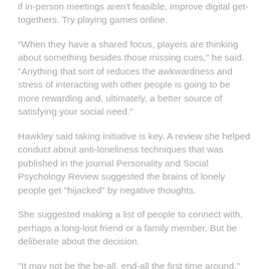if in-person meetings aren't feasible, improve digital get-togethers. Try playing games online.
"When they have a shared focus, players are thinking about something besides those missing cues," he said. "Anything that sort of reduces the awkwardness and stress of interacting with other people is going to be more rewarding and, ultimately, a better source of satisfying your social need."
Hawkley said taking initiative is key. A review she helped conduct about anti-loneliness techniques that was published in the journal Personality and Social Psychology Review suggested the brains of lonely people get "hijacked" by negative thoughts.
She suggested making a list of people to connect with, perhaps a long-lost friend or a family member. But be deliberate about the decision.
"It may not be the be-all, end-all the first time around," she said. "But you have to find a way of feeding your social